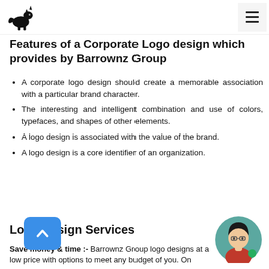Barrownz Group logo (unicorn) and hamburger menu
Features of a Corporate Logo design which provides by Barrownz Group
A corporate logo design should create a memorable association with a particular brand character.
The interesting and intelligent combination and use of colors, typefaces, and shapes of other elements.
A logo design is associated with the value of the brand.
A logo design is a core identifier of an organization.
Logo Design Services
Save money & time :- Barrownz Group logo designs at a low price with options to meet any budget of you. On
[Figure (illustration): Blue rounded rectangle scroll-to-top button with upward chevron arrow]
[Figure (illustration): Avatar of a woman with dark hair and glasses, wearing red, with a green dot]